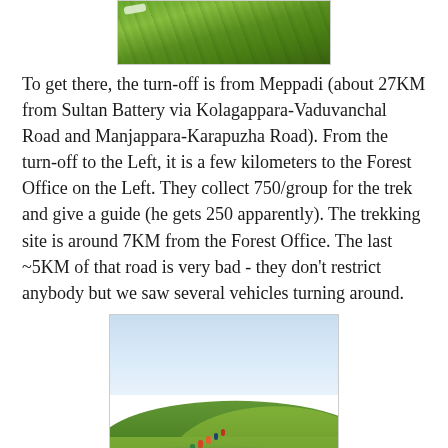[Figure (photo): Partial top view of green grass and vegetation on a hillside]
To get there, the turn-off is from Meppadi (about 27KM from Sultan Battery via Kolagappara-Vaduvanchal Road and Manjappara-Karapuzha Road). From the turn-off to the Left, it is a few kilometers to the Forest Office on the Left. They collect 750/group for the trek and give a guide (he gets 250 apparently). The trekking site is around 7KM from the Forest Office. The last ~5KM of that road is very bad - they don't restrict anybody but we saw several vehicles turning around.
[Figure (photo): Group of trekkers hiking up a green rolling hillside with a blue sky and distant hills in the background]
There is a forest department office and a watch-tower at the Start